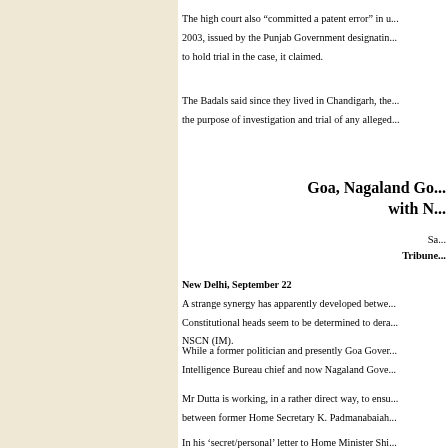The high court also “committed a patent error” in u... 2003, issued by the Punjab Government designatin... to hold trial in the case, it claimed.
The Badals said since they lived in Chandigarh, the... the purpose of investigation and trial of any alleged...
Goa, Nagaland Go... with N...
Sa... Tribune...
New Delhi, September 22
A strange synergy has apparently developed betwe... Constitutional heads seem to be determined to dera... NSCN (IM).
While a former politician and presently Goa Gover... Intelligence Bureau chief and now Nagaland Gove...
Mr Dutta is working, in a rather direct way, to ensu... between former Home Secretary K. Padmanabaiah...
In his ‘secret/personal’ letter to Home Minister Shi...